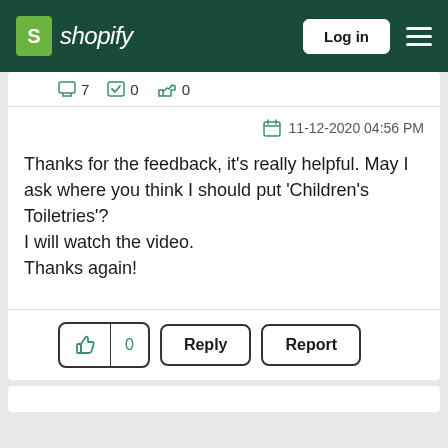[Figure (screenshot): Shopify navigation bar with logo, Log in button, and hamburger menu on dark green background]
7  0  0
11-12-2020 04:56 PM
Thanks for the feedback, it's really helpful. May I ask where you think I should put 'Children's Toiletries'?
I will watch the video.
Thanks again!
0  Reply  Report